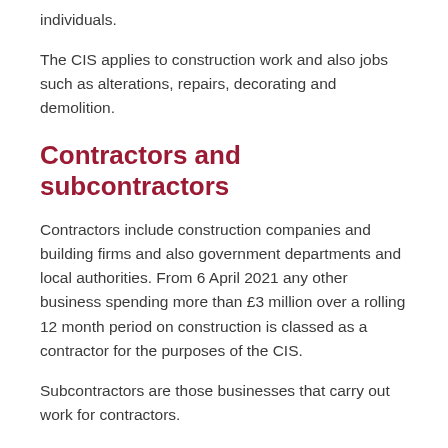individuals.
The CIS applies to construction work and also jobs such as alterations, repairs, decorating and demolition.
Contractors and subcontractors
Contractors include construction companies and building firms and also government departments and local authorities. From 6 April 2021 any other business spending more than £3 million over a rolling 12 month period on construction is classed as a contractor for the purposes of the CIS.
Subcontractors are those businesses that carry out work for contractors.
Many businesses act as both contractors and subcontractors.